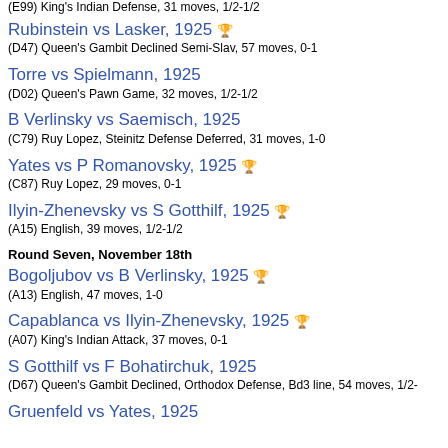(E99) King's Indian Defense, 31 moves, 1/2-1/2
Rubinstein vs Lasker, 1925 — (D47) Queen's Gambit Declined Semi-Slav, 57 moves, 0-1
Torre vs Spielmann, 1925 — (D02) Queen's Pawn Game, 32 moves, 1/2-1/2
B Verlinsky vs Saemisch, 1925 — (C79) Ruy Lopez, Steinitz Defense Deferred, 31 moves, 1-0
Yates vs P Romanovsky, 1925 — (C87) Ruy Lopez, 29 moves, 0-1
Ilyin-Zhenevsky vs S Gotthilf, 1925 — (A15) English, 39 moves, 1/2-1/2
Round Seven, November 18th
Bogoljubov vs B Verlinsky, 1925 — (A13) English, 47 moves, 1-0
Capablanca vs Ilyin-Zhenevsky, 1925 — (A07) King's Indian Attack, 37 moves, 0-1
S Gotthilf vs F Bohatirchuk, 1925 — (D67) Queen's Gambit Declined, Orthodox Defense, Bd3 line, 54 moves, 1/2-
Gruenfeld vs Yates, 1925